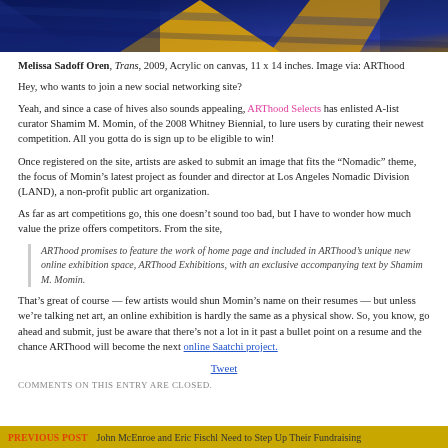[Figure (photo): Abstract painting with dark blue background and golden/yellow triangular shapes, appearing to be artwork by Melissa Sadoff Oren]
Melissa Sadoff Oren, Trans, 2009, Acrylic on canvas, 11 x 14 inches. Image via: ARThood
Hey, who wants to join a new social networking site?
Yeah, and since a case of hives also sounds appealing, ARThood Selects has enlisted A-list curator Shamim M. Momin, of the 2008 Whitney Biennial, to lure users by curating their newest competition. All you gotta do is sign up to be eligible to win!
Once registered on the site, artists are asked to submit an image that fits the “Nomadic” theme, the focus of Momin’s latest project as founder and director at Los Angeles Nomadic Division (LAND), a non-profit public art organization.
As far as art competitions go, this one doesn’t sound too bad, but I have to wonder how much value the prize offers competitors. From the site,
ARThood promises to feature the work of home page and included in ARThood’s unique new online exhibition space, ARThood Exhibitions, with an exclusive accompanying text by Shamim M. Momin.
That’s great of course — few artists would shun Momin’s name on their resumes — but unless we’re talking net art, an online exhibition is hardly the same as a physical show. So, you know, go ahead and submit, just be aware that there’s not a lot in it past a bullet point on a resume and the chance ARThood will become the next online Saatchi project.
Tweet
COMMENTS ON THIS ENTRY ARE CLOSED.
PREVIOUS POST: John McEnroe and Eric Fischl Need to Step Up Their Fundraising